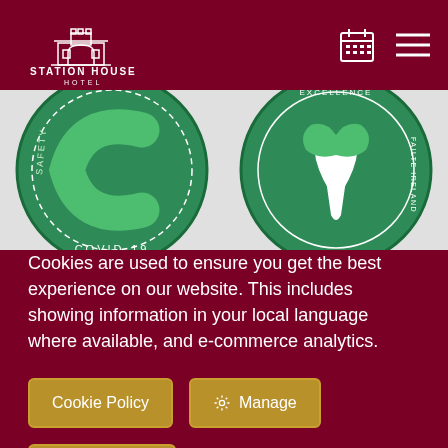[Figure (logo): Station House Hotel logo - white illustration of a building/station arch with text 'STATION HOUSE HOTEL' on dark red background]
[Figure (illustration): Two circular certification badges: a green Covid-19 safety badge and a green Failte Ireland Excellence badge]
Cookies are used to ensure you get the best experience on our website. This includes showing information in your local language where available, and e-commerce analytics.
Cookie Policy
Manage
Allow Cookies